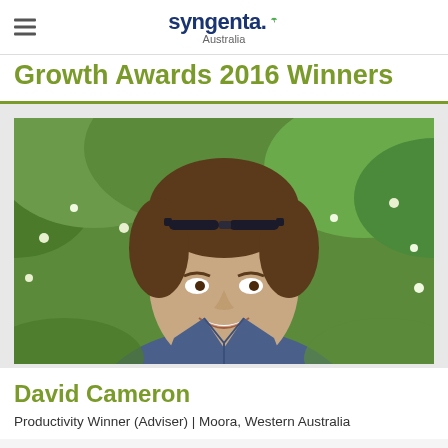syngenta. Australia
Growth Awards 2016 Winners
[Figure (photo): Portrait photo of David Cameron, a man with brown hair and sunglasses on his head, wearing a blue shirt, smiling, standing in front of green foliage with white flowers]
David Cameron
Productivity Winner (Adviser)  |  Moora, Western Australia